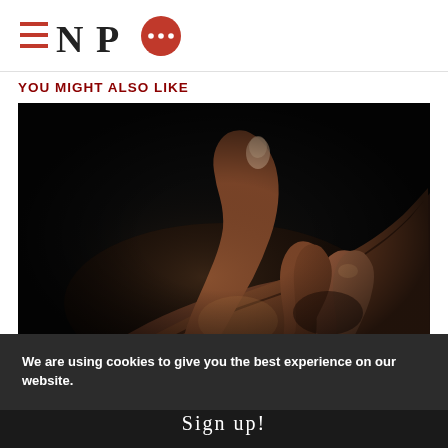≡NPQ
YOU MIGHT ALSO LIKE
[Figure (photo): Two dark-skinned hands clasped together against a black background, photographed dramatically with high contrast lighting.]
We are using cookies to give you the best experience on our website.
Sign up!